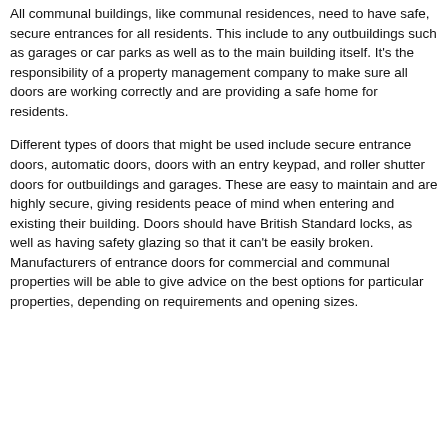All communal buildings, like communal residences, need to have safe, secure entrances for all residents. This include to any outbuildings such as garages or car parks as well as to the main building itself. It's the responsibility of a property management company to make sure all doors are working correctly and are providing a safe home for residents.
Different types of doors that might be used include secure entrance doors, automatic doors, doors with an entry keypad, and roller shutter doors for outbuildings and garages. These are easy to maintain and are highly secure, giving residents peace of mind when entering and existing their building. Doors should have British Standard locks, as well as having safety glazing so that it can't be easily broken. Manufacturers of entrance doors for commercial and communal properties will be able to give advice on the best options for particular properties, depending on requirements and opening sizes.